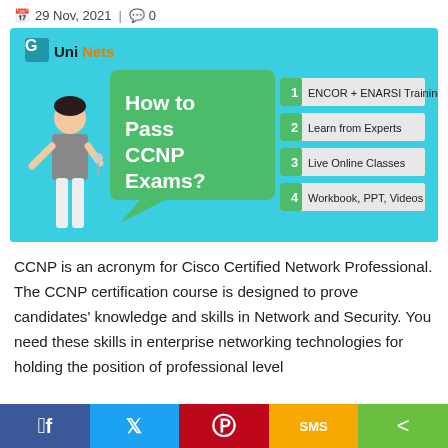📅 29 Nov, 2021 | 💬 0
[Figure (infographic): UniNets branded infographic: 'How to Pass CCNP Exams?' with a figure of a person and 4 numbered items: 1. ENCOR + ENARSI Training, 2. Learn from Experts, 3. Live Online Classes, 4. Workbook, PPT, Videos]
CCNP is an acronym for Cisco Certified Network Professional. The CCNP certification course is designed to prove candidates' knowledge and skills in Network and Security. You need these skills in enterprise networking technologies for holding the position of professional level
Facebook | Twitter | Pinterest | SMS | Share